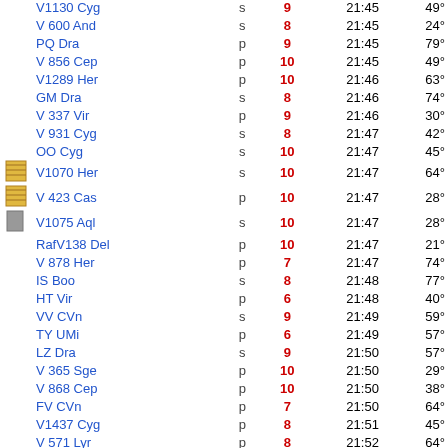| icon | name | type | mag | time | alt |
| --- | --- | --- | --- | --- | --- |
|  | V1130 Cyg | s | 9 | 21:45 | 49° |
|  | V 600 And | s | 8 | 21:45 | 24° |
|  | PQ Dra | p | 9 | 21:45 | 79° |
|  | V 856 Cep | p | 10 | 21:45 | 49° |
|  | V1289 Her | p | 10 | 21:46 | 63° |
|  | GM Dra | s | 8 | 21:46 | 74° |
|  | V 337 Vir | p | 9 | 21:46 | 30° |
|  | V 931 Cyg | s | 8 | 21:47 | 42° |
|  | OO Cyg | s | 10 | 21:47 | 45° |
| icon1 | V1070 Her | s | 10 | 21:47 | 64° |
| icon2 | V 423 Cas | p | 10 | 21:47 | 28° |
| gray | V1075 Aql | s | 10 | 21:47 | 28° |
|  | RafV138 Del | p | 10 | 21:47 | 21° |
|  | V 878 Her | p | 7 | 21:47 | 74° |
|  | IS Boo | s | 8 | 21:48 | 77° |
|  | HT Vir | p | 6 | 21:48 | 40° |
|  | VV CVn | s | 9 | 21:49 | 59° |
|  | TY UMi | p | 6 | 21:49 | 57° |
|  | LZ Dra | s | 9 | 21:50 | 57° |
|  | V 365 Sge | p | 10 | 21:50 | 29° |
|  | V 868 Cep | p | 10 | 21:50 | 38° |
|  | FV CVn | p | 7 | 21:50 | 64° |
|  | V1437 Cyg | p | 8 | 21:51 | 45° |
|  | V 571 Lyr | p | 8 | 21:52 | 64° |
|  | V 358 Cep | s | 9 | 21:52 | 42° |
| highlight | TYC 3807- UMa | P | - | 21:52 | 37° |
|  | V 519 Cyg | p | 9 | 21:53 | 42° |